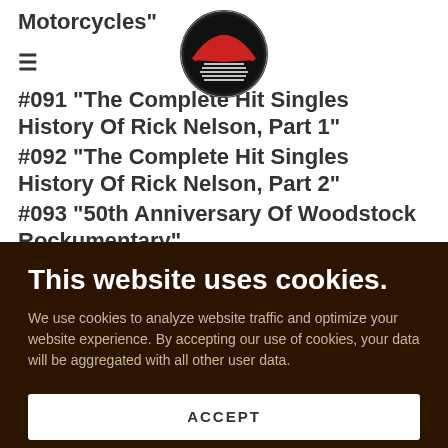[Figure (logo): Rock n Ride circular logo with red and black design]
Motorcycles"
#091 "The Complete Hit Singles History Of Rick Nelson, Part 1"
#092 "The Complete Hit Singles History Of Rick Nelson, Part 2"
#093 "50th Anniversary Of Woodstock Rockumentary"
#094 "The Top 40 Lost Hits Of 1970"
This website uses cookies.
We use cookies to analyze website traffic and optimize your website experience. By accepting our use of cookies, your data will be aggregated with all other user data.
ACCEPT